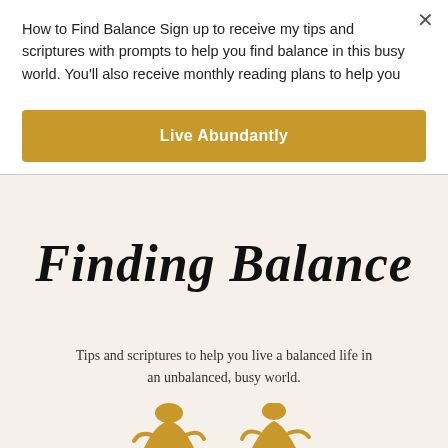How to Find Balance Sign up to receive my tips and scriptures with prompts to help you find balance in this busy world. You'll also receive monthly reading plans to help you
Live Abundantly
Finding Balance
Tips and scriptures to help you live a balanced life in an unbalanced, busy world.
[Figure (illustration): Partial view of a figure in a golden/warm-toned illustration at the bottom of the page]